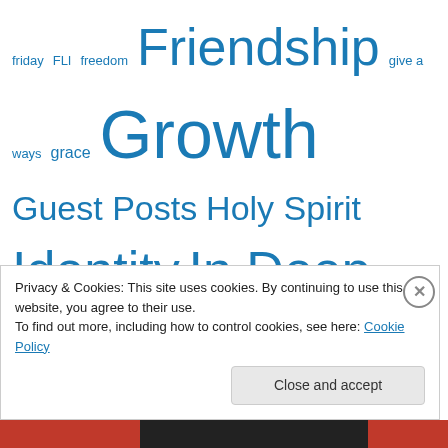[Figure (infographic): Tag cloud with terms of varying sizes in blue: friday, FLI, freedom, Friendship, give a ways, grace, Growth, Guest Posts, Holy Spirit, Identity, In Deep - A 31 Days Series, Kindred Grace, leadership, Letters, longings, marriage, MRSA, mus, musing, Musings, offense, podcast, Prayer, Q & A, Re -posts, Redemption, Relationships, series, Singleness, trust, Truth, Unfading, wherever, worldview, Yoda]
Privacy & Cookies: This site uses cookies. By continuing to use this website, you agree to their use.
To find out more, including how to control cookies, see here: Cookie Policy